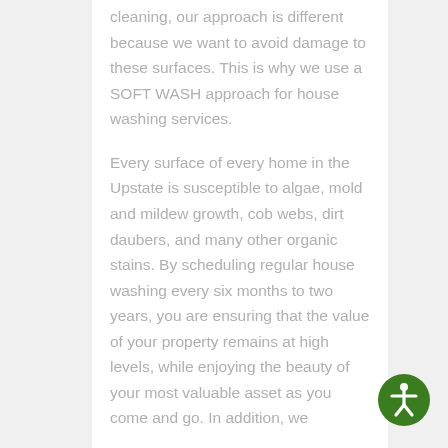cleaning, our approach is different because we want to avoid damage to these surfaces. This is why we use a SOFT WASH approach for house washing services.
Every surface of every home in the Upstate is susceptible to algae, mold and mildew growth, cob webs, dirt daubers, and many other organic stains. By scheduling regular house washing every six months to two years, you are ensuring that the value of your property remains at high levels, while enjoying the beauty of your most valuable asset as you come and go. In addition, we
[Figure (illustration): Green circular accessibility icon with white stick figure with arms and legs spread out, positioned in the bottom right corner]